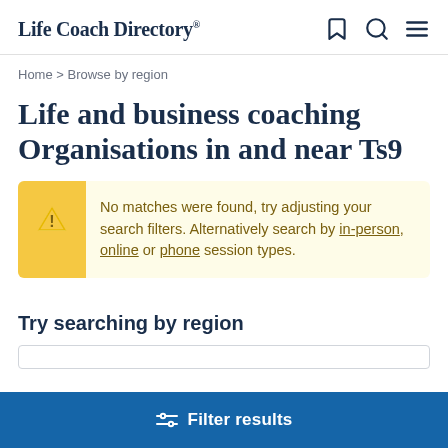Life Coach Directory
Home > Browse by region
Life and business coaching Organisations in and near Ts9
No matches were found, try adjusting your search filters. Alternatively search by in-person, online or phone session types.
Try searching by region
Filter results